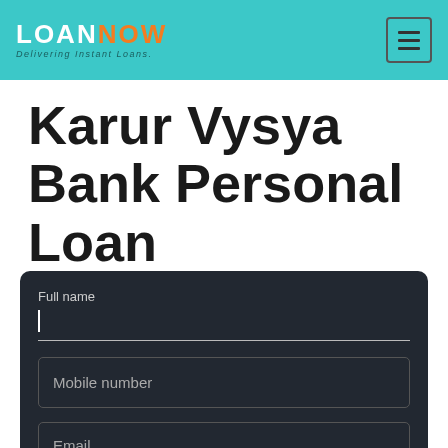LOANNOW - Delivering Instant Loans
Karur Vysya Bank Personal Loan
[Figure (screenshot): Web form with fields: Full name (text input with cursor), Mobile number (input box), Email (input box), on dark background #222831]